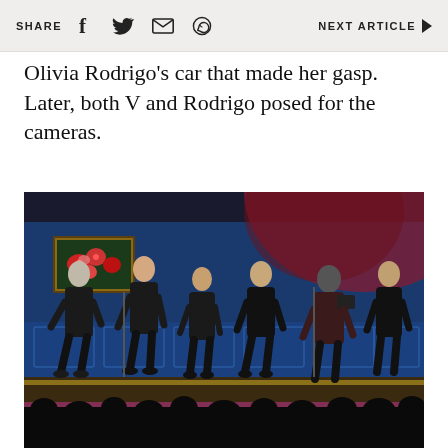SHARE   NEXT ARTICLE
Olivia Rodrigo's car that made her gasp. Later, both V and Rodrigo posed for the cameras.
[Figure (photo): Group of performers dressed in black suits dancing on a stage with blue and red lighting, with a floral painting visible on the wall in the background and audience silhouettes in the foreground.]